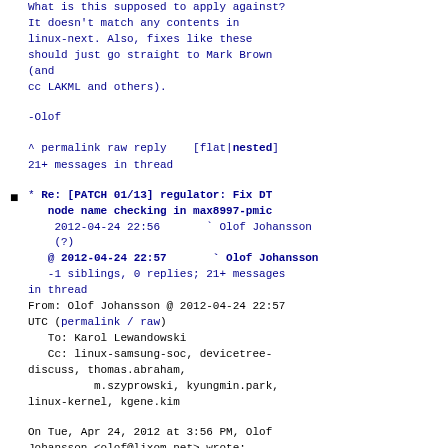What is this supposed to apply against? It doesn't match any contents in linux-next. Also, fixes like these should just go straight to Mark Brown (and cc LAKML and others).
-Olof
^ permalink raw reply [flat|nested] 21+ messages in thread
* Re: [PATCH 01/13] regulator: Fix DT node name checking in max8997-pmic 2012-04-24 22:56 ` Olof Johansson (?) @ 2012-04-24 22:57 ` Olof Johansson -1 siblings, 0 replies; 21+ messages in thread From: Olof Johansson @ 2012-04-24 22:57 UTC (permalink / raw) To: Karol Lewandowski Cc: linux-samsung-soc, devicetree-discuss, thomas.abraham, m.szyprowski, kyungmin.park, linux-kernel, kgene.kim
On Tue, Apr 24, 2012 at 3:56 PM, Olof Johansson <olof@lixom.net> wrote:
> Hi